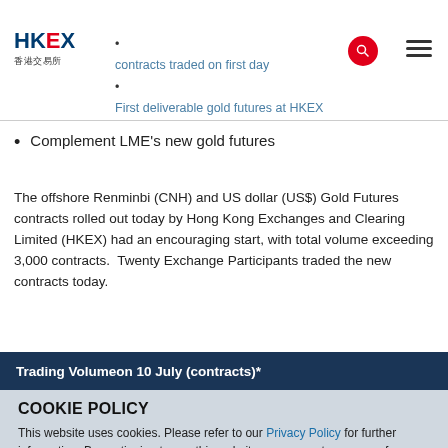10 Jul 2017
[Figure (logo): HKEX logo with Chinese characters 香港交易所]
contracts traded on first day – First deliverable gold futures at HKEX
Complement LME's new gold futures
The offshore Renminbi (CNH) and US dollar (US$) Gold Futures contracts rolled out today by Hong Kong Exchanges and Clearing Limited (HKEX) had an encouraging start, with total volume exceeding 3,000 contracts.  Twenty Exchange Participants traded the new contracts today.
Trading Volumeon 10 July (contracts)*
COOKIE POLICY
This website uses cookies. Please refer to our Privacy Policy for further information. By continuing to use this website, you agree to our use of cookies.
Close